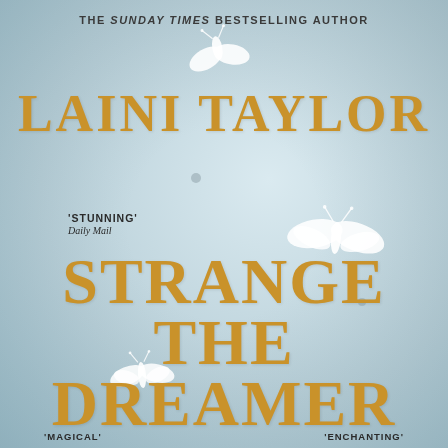THE SUNDAY TIMES BESTSELLING AUTHOR
LAINI TAYLOR
'STUNNING' Daily Mail
[Figure (illustration): Book cover illustration showing white moth/butterfly silhouettes on a pale blue-grey mist background]
STRANGE THE DREAMER
'MAGICAL'
'ENCHANTING'